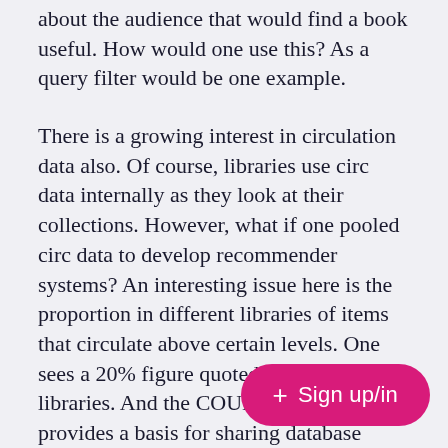about the audience that would find a book useful. How would one use this? As a query filter would be one example.
There is a growing interest in circulation data also. Of course, libraries use circ data internally as they look at their collections. However, what if one pooled circ data to develop recommender systems? An interesting issue here is the proportion in different libraries of items that circulate above certain levels. One sees a 20% figure quoted for research libraries. And the COUNTER initiative provides a basis for sharing database usage data, although w[...] services built upon aggregations[...]